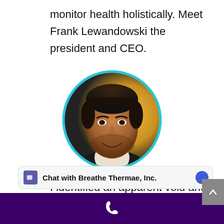monitor health holistically. Meet Frank Lewandowski the president and CEO.
[Figure (photo): Circular profile photo of Frank Lewandowski with a cyan/teal border, showing a smiling man with dark hair and beard in a suit, with a yellow/warm background. Below the circle is a black name bar reading 'Frank Lewandowski / President & CEO'.]
I identified an apparent void and observed a lack of synergistic and collaborative partnerships within
Chat with Breathe Thermae, Inc.